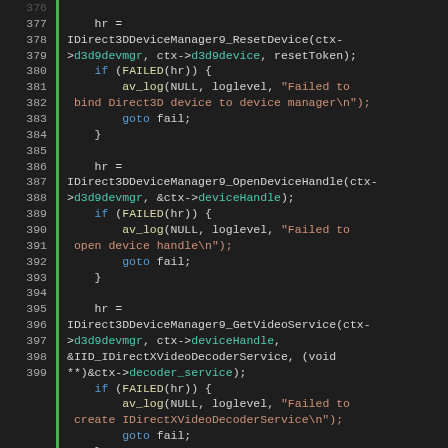[Figure (screenshot): Source code editor screenshot showing C code lines 376-399 with syntax highlighting. Functions include IDirect3DDeviceManager9_ResetDevice, IDirect3DDeviceManager9_OpenDeviceHandle, IDirect3DDeviceManager9_GetVideoService, av_frame_alloc. Variables highlighted in teal, keywords in blue, strings in orange, function names in yellow.]